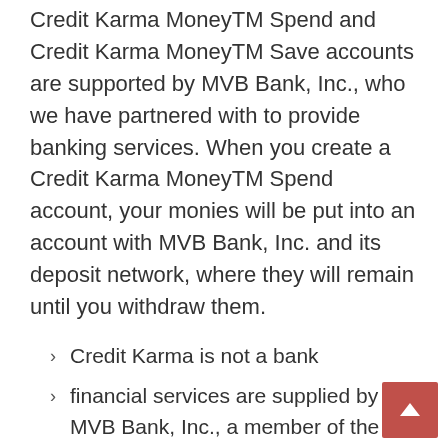Credit Karma MoneyTM Spend and Credit Karma MoneyTM Save accounts are supported by MVB Bank, Inc., who we have partnered with to provide banking services. When you create a Credit Karma MoneyTM Spend account, your monies will be put into an account with MVB Bank, Inc. and its deposit network, where they will remain until you withdraw them.
Credit Karma is not a bank
financial services are supplied by MVB Bank, Inc., a member of the Federal Deposit Insurance Corporation. Credit Karma Money Spend and/or Credit Karma Save accounts may only be opened once you have completed the